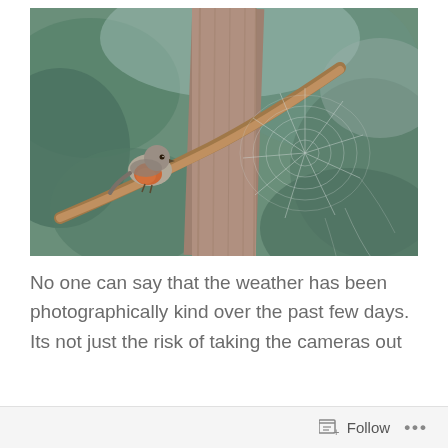[Figure (photo): A small bird with orange/red breast perched on a diagonal branch near a tree trunk, with a large spider web visible on the right side of the image. Background is blurred green foliage.]
No one can say that the weather has been photographically kind over the past few days. Its not just the risk of taking the cameras out
Follow ...